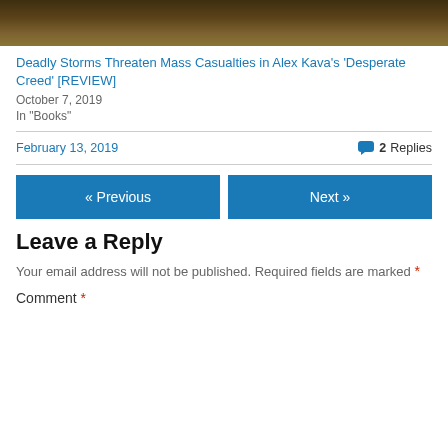[Figure (photo): Outdoor nature photo showing grass/ground, cropped at top]
Deadly Storms Threaten Mass Casualties in Alex Kava's 'Desperate Creed' [REVIEW]
October 7, 2019
In "Books"
February 13, 2019
2 Replies
« Previous
Next »
Leave a Reply
Your email address will not be published. Required fields are marked *
Comment *